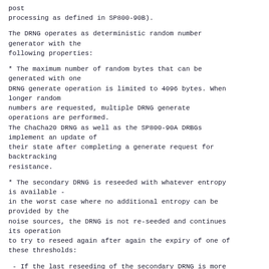post
processing as defined in SP800-90B).
The DRNG operates as deterministic random number generator with the
following properties:
* The maximum number of random bytes that can be generated with one
DRNG generate operation is limited to 4096 bytes. When longer random
numbers are requested, multiple DRNG generate
operations are performed.
The ChaCha20 DRNG as well as the SP800-90A DRBGs implement an update of
their state after completing a generate request for backtracking
resistance.
* The secondary DRNG is reseeded with whatever entropy is available -
in the worst case where no additional entropy can be provided by the
noise sources, the DRNG is not re-seeded and continues its operation
to try to reseed again after again the expiry of one of these thresholds:
- If the last reseeding of the secondary DRNG is more
than 600 seconds